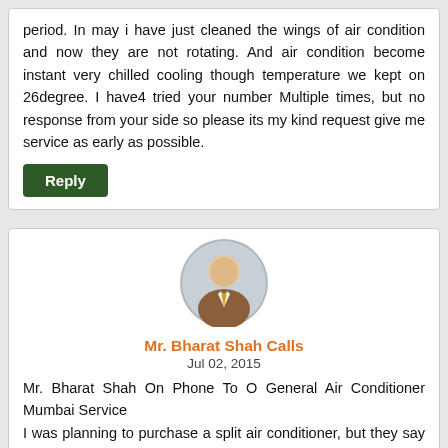period. In may i have just cleaned the wings of air condition and now they are not rotating. And air condition become instant very chilled cooling though temperature we kept on 26degree. I have4 tried your number Multiple times, but no response from your side so please its my kind request give me service as early as possible.
[Figure (other): Reply button - dark green rounded rectangle button with white bold text 'Reply']
[Figure (illustration): User avatar icon - circular portrait of a generic person in a brown suit with a yellow tie, gray background circle]
Mr. Bharat Shah Calls
Jul 02, 2015
Mr. Bharat Shah On Phone To O General Air Conditioner Mumbai Service
I was planning to purchase a split air conditioner, but they say your company does not provide any pipe, and the installation charges are also very hig account. Id my information so should I do
[Figure (other): Post Your Complaint button overlay - dark blue rounded pill-shaped button with white bold text and pencil icon]